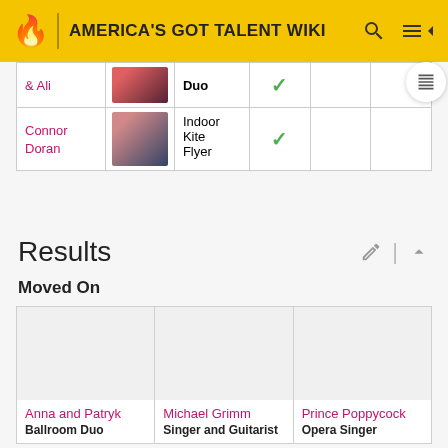AMERICA'S GOT TALENT WIKI
| Name | Photo | Act | Audition |  |  |
| --- | --- | --- | --- | --- | --- |
| & Ali | [image] | Duo | ✓ |  |  |
| Connor Doran | [image] | Indoor Kite Flyer | ✓ |  |  |
Results
Moved On
| Name/Act | Name/Act | Name/Act |
| --- | --- | --- |
| Anna and Patryk
Ballroom Duo | Michael Grimm
Singer and Guitarist | Prince Poppycock
Opera Singer |